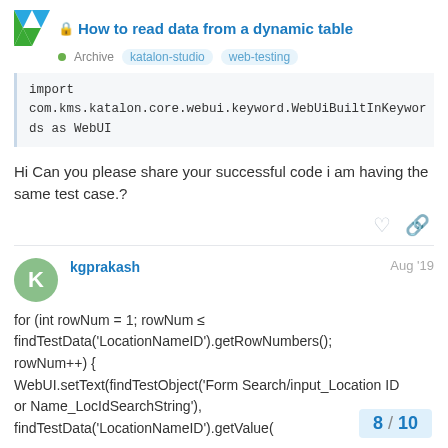How to read data from a dynamic table — Archive · katalon-studio · web-testing
import com.kms.katalon.core.webui.keyword.WebUiBuiltInKeywords as WebUI
Hi Can you please share your successful code i am having the same test case.?
kgprakash — Aug '19
for (int rowNum = 1; rowNum ≤ findTestData('LocationNameID').getRowNumbers(); rowNum++) {
WebUI.setText(findTestObject('Form Search/input_Location ID or Name_LocIdSearchString'),
findTestData('LocationNameID').getValue(
8 / 10